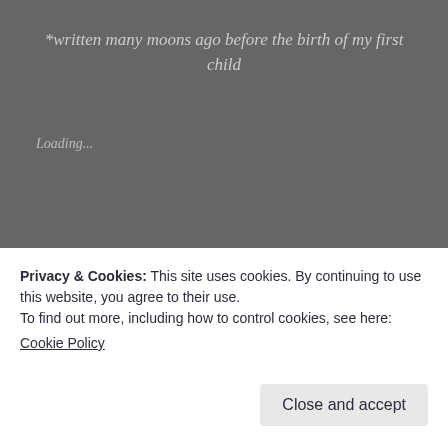*written many moons ago before the birth of my first child
Loading...
Thoughts Of Another Calendar Year
Privacy & Cookies: This site uses cookies. By continuing to use this website, you agree to their use.
To find out more, including how to control cookies, see here:
Cookie Policy
Close and accept